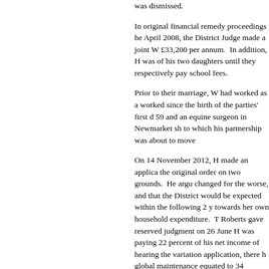was dismissed.
In original financial remedy proceedings he April 2008, the District Judge made a joint W £33,200 per annum. In addition, H was of his two daughters until they respectively pay school fees.
Prior to their marriage, W had worked as a worked since the birth of the parties' first d 59 and an equine surgeon in Newmarket sh to which his partnership was about to move
On 14 November 2012, H made an applica the original order on two grounds. He argu changed for the worse, and that the District would be expected within the following 2 y towards her own household expenditure. T Roberts gave reserved judgment on 26 June H was paying 22 percent of his net income of hearing the variation application, there h global maintenance equated to 34 percent.
Having considered the evidence, Judge Rob a man of integrity. She found that he had h and that he had not been in a position to ma pension since the order. She accepted his c District Judge to make a financial contribut